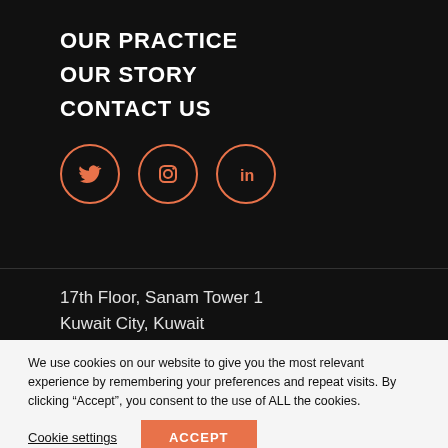OUR PRACTICE
OUR STORY
CONTACT US
[Figure (other): Three social media icons in salmon/coral outlined circles: Twitter (bird icon), Instagram (camera icon), LinkedIn (in icon)]
17th Floor, Sanam Tower 1
Kuwait City, Kuwait
We use cookies on our website to give you the most relevant experience by remembering your preferences and repeat visits. By clicking “Accept”, you consent to the use of ALL the cookies.
Cookie settings    ACCEPT